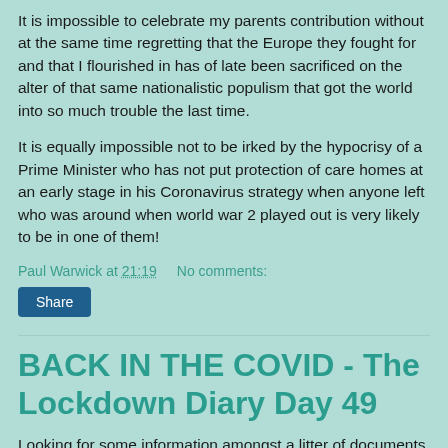It is impossible to celebrate my parents contribution without at the same time regretting that the Europe they fought for and that I flourished in has of late been sacrificed on the alter of that same nationalistic populism that got the world into so much trouble the last time.
It is equally impossible not to be irked by the hypocrisy of a Prime Minister who has not put protection of care homes at an early stage in his Coronavirus strategy when anyone left who was around when world war 2 played out is very likely to be in one of them!
Paul Warwick at 21:19    No comments:
Share
BACK IN THE COVID - The Lockdown Diary Day 49
Looking for some information amongst a litter of documents, bags, files, envelopes that constitute my as yet unorganised